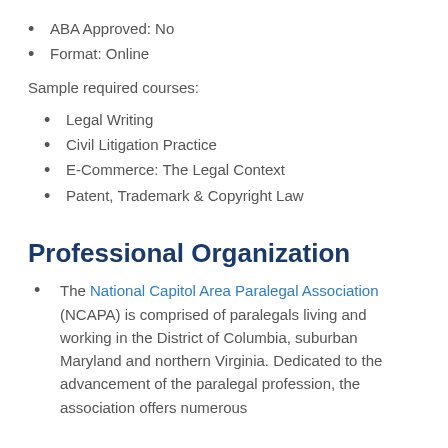ABA Approved: No
Format: Online
Sample required courses:
Legal Writing
Civil Litigation Practice
E-Commerce: The Legal Context
Patent, Trademark & Copyright Law
Professional Organization
The National Capitol Area Paralegal Association (NCAPA) is comprised of paralegals living and working in the District of Columbia, suburban Maryland and northern Virginia. Dedicated to the advancement of the paralegal profession, the association offers numerous